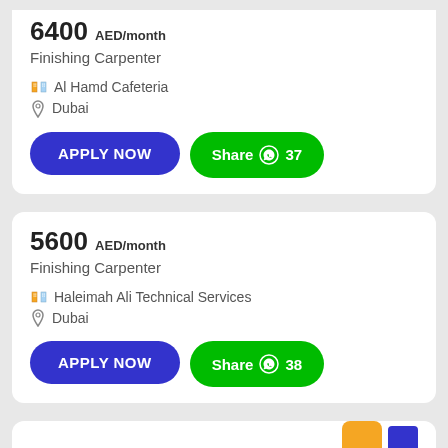6400 AED/month
Finishing Carpenter
Al Hamd Cafeteria
Dubai
APPLY NOW
Share 37
5600 AED/month
Finishing Carpenter
Haleimah Ali Technical Services
Dubai
APPLY NOW
Share 38